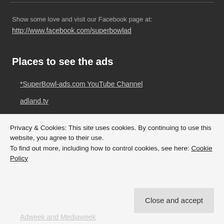Show some love and visit our Facebook page at:
http://www.facebook.com/superbowlad
Places to see the ads
*SuperBowl-ads.com YouTube Channel
adland.tv
Adweek and Mediaweek
ispot.tv
YouTube adblitz
Privacy & Cookies: This site uses cookies. By continuing to use this website, you agree to their use.
To find out more, including how to control cookies, see here: Cookie Policy
Close and accept
Adweek and Mediaweek